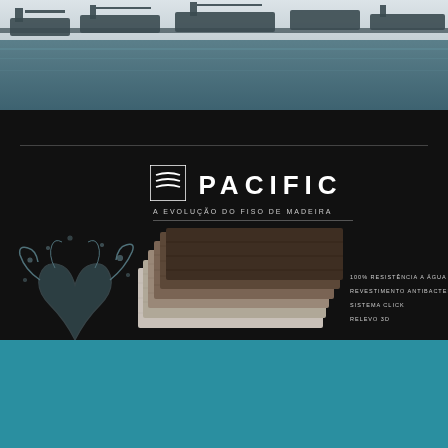[Figure (photo): Aerial or elevated view of a marina with boats and yachts docked in grey-blue water]
[Figure (infographic): Pacific flooring brand advertisement on dark/black background. Shows Pacific logo with wave icon, tagline A EVOLUÇÃO DO FISO DE MADEIRA, wood floor samples fanned out, water splash graphic on left, and feature text: 100% RESISTÊNCIA A ÁGUA, REVESTIMENTO ANTIBACTERIANO, SISTEMA CLICK, RELEVO 3D]
[Figure (screenshot): Teal/dark cyan banner section at bottom with a rounded rectangle button labeled Cameras]